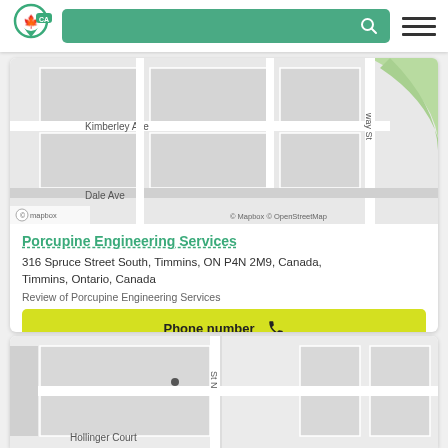Navigation bar with logo, search, and menu
[Figure (map): Street map showing Kimberley Ave and Dale Ave in Timmins, Ontario, with Mapbox/OpenStreetMap attribution]
Porcupine Engineering Services
316 Spruce Street South, Timmins, ON P4N 2M9, Canada, Timmins, Ontario, Canada
Review of Porcupine Engineering Services
Phone number
Contact information
[Figure (map): Partial street map showing Hollinger Court in Timmins, Ontario]